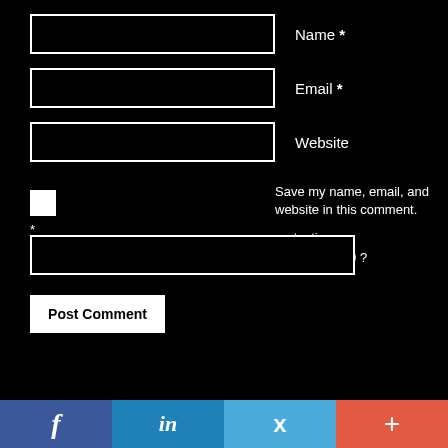Name *
Email *
Website
Save my name, email, and website in this comment.
* protection: Sum of 7 + 10 ?
Post Comment
[Figure (infographic): Social share bar with Facebook, LinkedIn, Twitter, and plus (+) buttons]